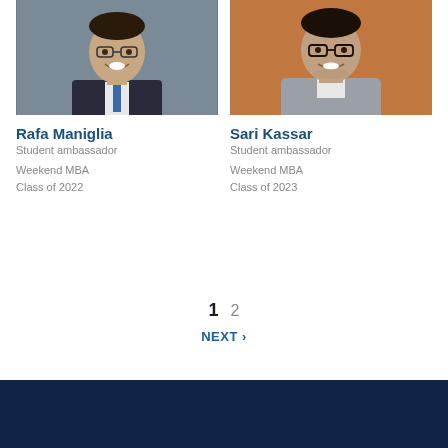[Figure (photo): Headshot of Rafa Maniglia, a young man with glasses and a suit, smiling]
Rafa Maniglia
Student ambassador
Weekend MBA
Class of 2022
[Figure (photo): Headshot of Sari Kassar, a man with glasses and a grey zip-up jacket, smiling, against an orange background]
Sari Kassar
Student ambassador
Weekend MBA
Class of 2023
1   2
NEXT ›